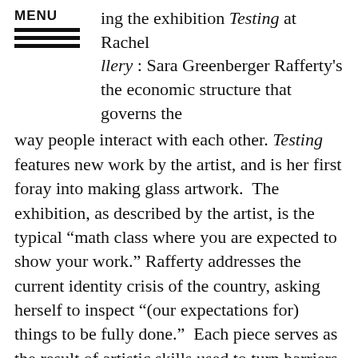MENU | ing the exhibition Testing at Rachel Gallery : Sara Greenberger Rafferty's the economic structure that governs the
way people interact with each other. Testing features new work by the artist, and is her first foray into making glass artwork.  The exhibition, as described by the artist, is the typical “math class where you are expected to show your work.” Rafferty addresses the current identity crisis of the country, asking herself to inspect “(our expectations for) things to be fully done.”  Each piece serves as the result of artistic skills used to turn barriers into critical venture points.  The exhibition would have been compromised by unessential details, if Rafferty stayed within her